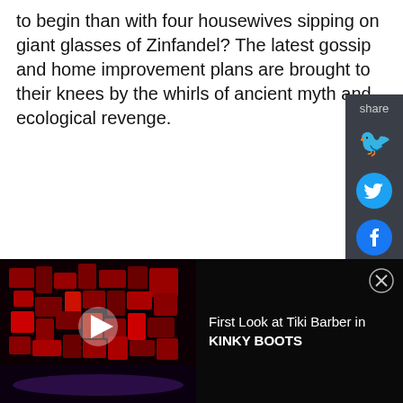to begin than with four housewives sipping on giant glasses of Zinfandel? The latest gossip and home improvement plans are brought to their knees by the whirls of ancient myth and ecological revenge.
[Figure (other): Share sidebar with Twitter and Facebook icons on dark grey background]
[Figure (screenshot): Video thumbnail showing a dark stage with red lighting for Kinky Boots, with a play button overlay. Text reads: First Look at Tiki Barber in KINKY BOOTS]